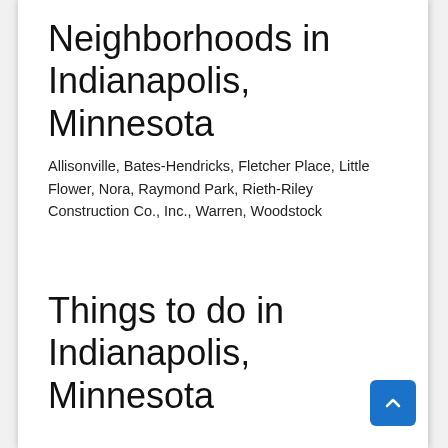Neighborhoods in Indianapolis, Minnesota
Allisonville, Bates-Hendricks, Fletcher Place, Little Flower, Nora, Raymond Park, Rieth-Riley Construction Co., Inc., Warren, Woodstock
Things to do in Indianapolis, Minnesota